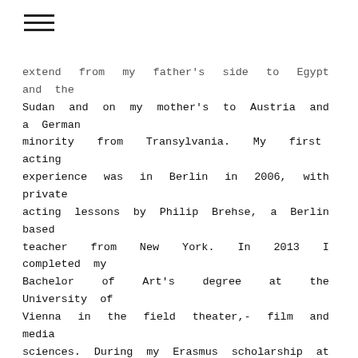☰ (hamburger menu icon)
extend from my father's side to Egypt and the Sudan and on my mother's to Austria and a German minority from Transylvania. My first acting experience was in Berlin in 2006, with private acting lessons by Philip Brehse, a Berlin based teacher from New York. In 2013 I completed my Bachelor of Art's degree at the University of Vienna in the field theater,- film and media sciences. During my Erasmus scholarship at the Université Paris Nanterre, I attended the international drama school Cours Florent in Paris.
Inspired by Ariane Mnouchkine's productions of the Théâtre du soleil, I decided to start a training at the Théâtre Internationale de Jacques Lecoq in Paris in 2010. With workshops and trainings over the years, held by Ken Rea, Simon Edwards & Marian Masoliver, Andreas Simma, Corinna Lenneis, Stephan